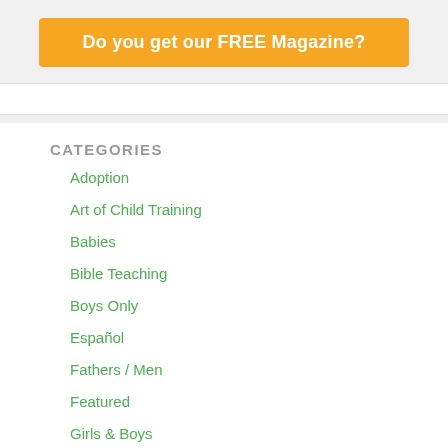Do you get our FREE Magazine?
CATEGORIES
Adoption
Art of Child Training
Babies
Bible Teaching
Boys Only
Español
Fathers / Men
Featured
Girls & Boys